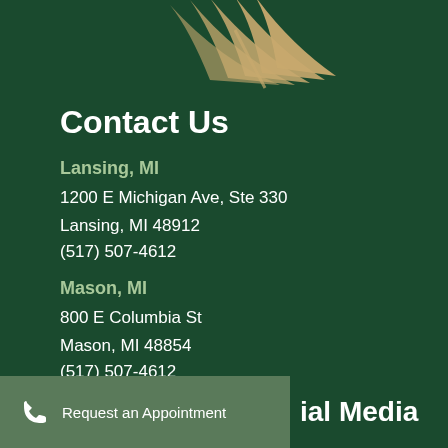[Figure (illustration): Decorative gold/tan leaf or feather graphic in the upper center-left area of the page on a dark green background]
Contact Us
Lansing, MI
1200 E Michigan Ave, Ste 330
Lansing, MI 48912
(517) 507-4612
Mason, MI
800 E Columbia St
Mason, MI 48854
(517) 507-4612
Request an Appointment
ial Media